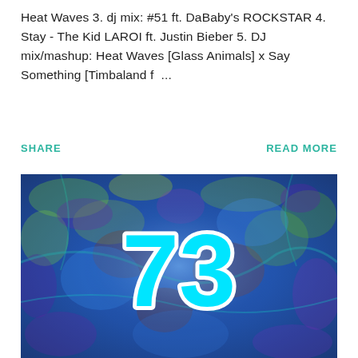Heat Waves 3. dj mix: #51 ft. DaBaby's ROCKSTAR 4. Stay - The Kid LAROI ft. Justin Bieber 5. DJ mix/mashup: Heat Waves [Glass Animals] x Say Something [Timbaland f ...
SHARE     READ MORE
[Figure (photo): Colorful iridescent textured surface (blue, green, yellow, purple tones) with large cyan/turquoise number '73' in the center with a white outline stroke.]